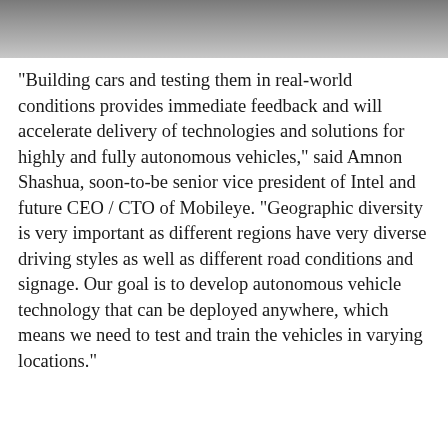[Figure (photo): Partial photograph at the top of the page, showing a dark grayish background, likely a vehicle or road scene.]
“Building cars and testing them in real-world conditions provides immediate feedback and will accelerate delivery of technologies and solutions for highly and fully autonomous vehicles,” said Amnon Shashua, soon-to-be senior vice president of Intel and future CEO / CTO of Mobileye. “Geographic diversity is very important as different regions have very diverse driving styles as well as different road conditions and signage. Our goal is to develop autonomous vehicle technology that can be deployed anywhere, which means we need to test and train the vehicles in varying locations.”